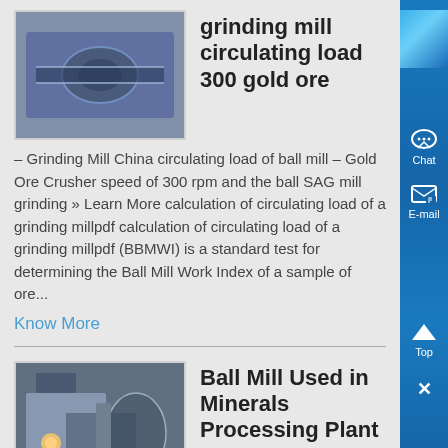[Figure (photo): Industrial grinding mill machinery photo thumbnail]
grinding mill circulating load 300 gold ore
– Grinding Mill China circulating load of ball mill – Gold Ore Crusher speed of 300 rpm and the ball SAG mill grinding » Learn More calculation of circulating load of a grinding millpdf calculation of circulating load of a grinding millpdf (BBMWI) is a standard test for determining the Ball Mill Work Index of a sample of ore...
Know More
[Figure (photo): Ball mill used in minerals processing plant, workers visible]
Ball Mill Used in Minerals Processing Plant | Prominer ,
This ball mill is typically designed to grind mineral ores and other materials with different hardness, and it is widely used in different fields...